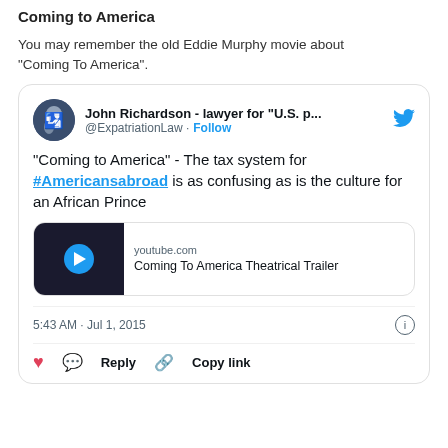Coming to America
You may remember the old Eddie Murphy movie about “Coming To America”.
[Figure (screenshot): Embedded tweet from @ExpatriationLaw (John Richardson - lawyer for "U.S. p...") with text: "Coming to America" - The tax system for #Americansabroad is as confusing as is the culture for an African Prince. Includes a YouTube link card for 'Coming To America Theatrical Trailer'. Timestamp: 5:43 AM · Jul 1, 2015. Actions: like, reply, copy link.]